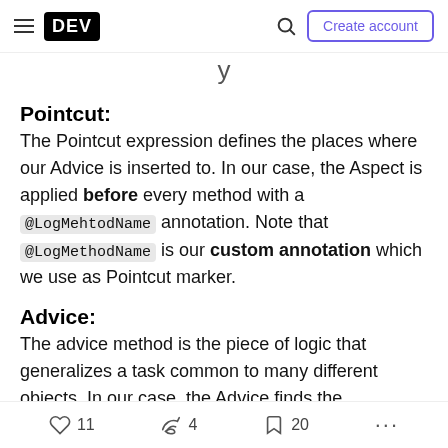DEV — Create account
y
Pointcut:
The Pointcut expression defines the places where our Advice is inserted to. In our case, the Aspect is applied before every method with a @LogMehtodName annotation. Note that @LogMethodName is our custom annotation which we use as Pointcut marker.
Advice:
The advice method is the piece of logic that generalizes a task common to many different objects. In our case, the Advice finds the originating method's name as well as its calling parameters and
11  4  20  ...